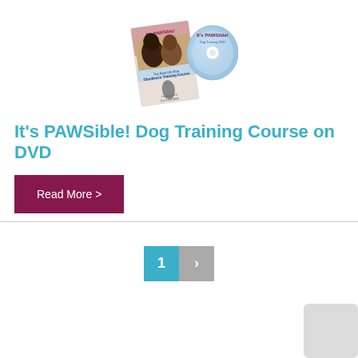[Figure (photo): Product image showing It's PAWSible! Dog Training Course DVD box and disc]
It's PAWSible! Dog Training Course on DVD
Read More >